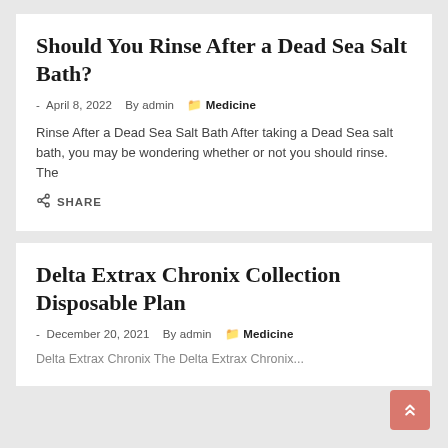Should You Rinse After a Dead Sea Salt Bath?
- April 8, 2022  By admin  Medicine
Rinse After a Dead Sea Salt Bath After taking a Dead Sea salt bath, you may be wondering whether or not you should rinse. The
SHARE
Delta Extrax Chronix Collection Disposable Plan
- December 20, 2021  By admin  Medicine
Delta Extrax Chronix The Delta Extrax Chronix...